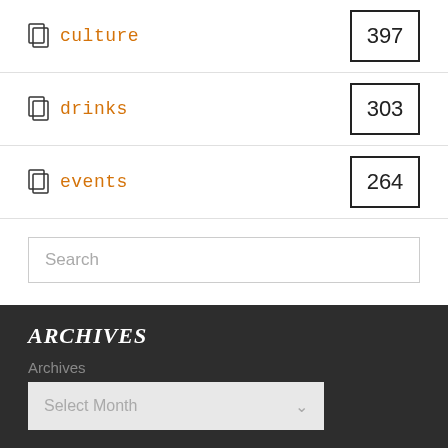culture 397
drinks 303
events 264
Search
ARCHIVES
Archives
Select Month
The Plus Ones
ABN: 76 646 154 646
4/51 Queen Street Melbourne, VIC